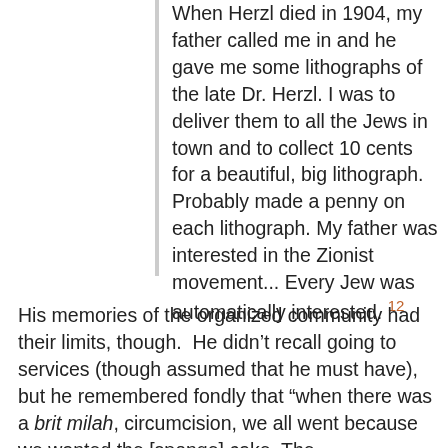When Herzl died in 1904, my father called me in and he gave me some lithographs of the late Dr. Herzl. I was to deliver them to all the Jews in town and to collect 10 cents for a beautiful, big lithograph. Probably made a penny on each lithograph. My father was interested in the Zionist movement... Every Jew was automatically interested. 12
His memories of the organized community had their limits, though.  He didn't recall going to services (though assumed that he must have), but he remembered fondly that “when there was a brit milah, circumcision, we all went because we wanted the [sponge] cake. The...